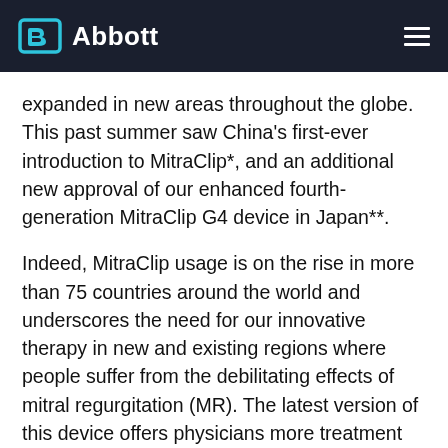Abbott
expanded in new areas throughout the globe. This past summer saw China's first-ever introduction to MitraClip*, and an additional new approval of our enhanced fourth-generation MitraClip G4 device in Japan**.
Indeed, MitraClip usage is on the rise in more than 75 countries around the world and underscores the need for our innovative therapy in new and existing regions where people suffer from the debilitating effects of mitral regurgitation (MR). The latest version of this device offers physicians more treatment options that can be tailored to a patients' unique mitral valve anatomy with predictable